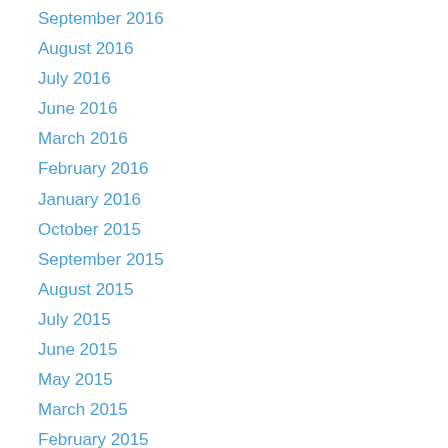September 2016
August 2016
July 2016
June 2016
March 2016
February 2016
January 2016
October 2015
September 2015
August 2015
July 2015
June 2015
May 2015
March 2015
February 2015
January 2015
December 2014
November 2014
October 2014
September 2014